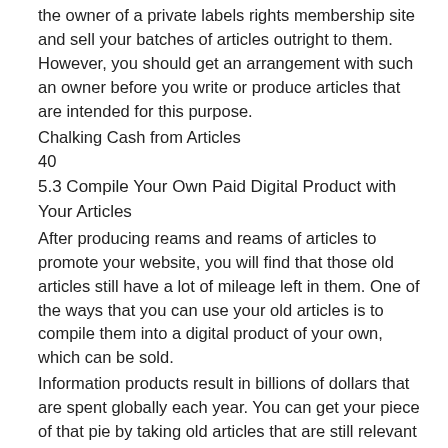the owner of a private labels rights membership site and sell your batches of articles outright to them. However, you should get an arrangement with such an owner before you write or produce articles that are intended for this purpose.
Chalking Cash from Articles
40
5.3 Compile Your Own Paid Digital Product with Your Articles
After producing reams and reams of articles to promote your website, you will find that those old articles still have a lot of mileage left in them. One of the ways that you can use your old articles is to compile them into a digital product of your own, which can be sold.
Information products result in billions of dollars that are spent globally each year. You can get your piece of that pie by taking old articles that are still relevant today and compiling them into PDF format to create